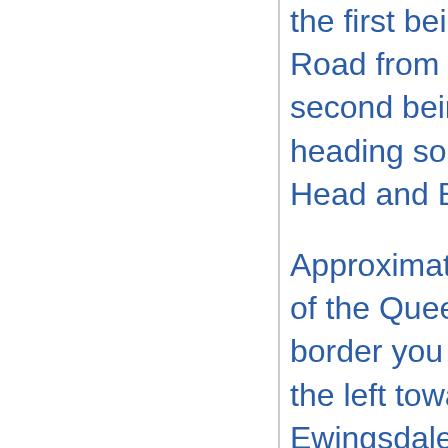the first being Ewingsdale Road from the highway and the second being Bangalow Road, heading south towards Lennox Head and Ballina.
Approximately 45 mins south of the Queensland/NSW border you will see a turnoff on the left towards Byron Bay via Ewingsdale Road. This route will take you into the heart of Byron Bay's town centre.
If you're coming from the other direction, via Bangalow Road, you'll follow the coastline up from Ballina, past Lennox Head, Broken Head and Suffolk Park